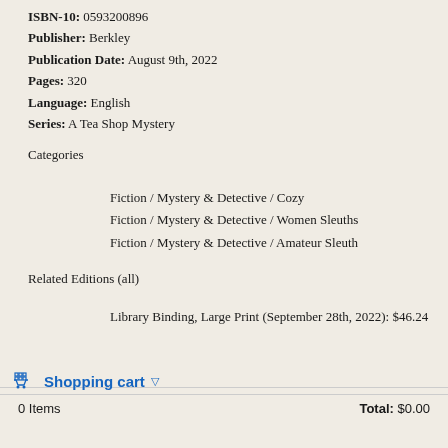ISBN-10: 0593200896
Publisher: Berkley
Publication Date: August 9th, 2022
Pages: 320
Language: English
Series: A Tea Shop Mystery
Categories
Fiction / Mystery & Detective / Cozy
Fiction / Mystery & Detective / Women Sleuths
Fiction / Mystery & Detective / Amateur Sleuth
Related Editions (all)
Library Binding, Large Print (September 28th, 2022): $46.24
Shopping cart
0 Items   Total: $0.00